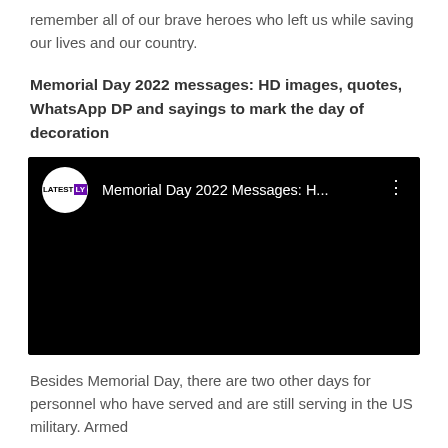remember all of our brave heroes who left us while saving our lives and our country.
Memorial Day 2022 messages: HD images, quotes, WhatsApp DP and sayings to mark the day of decoration
[Figure (screenshot): YouTube video thumbnail/player showing 'Memorial Day 2022 Messages: H...' with Latestly logo in top bar, dark/black video area]
Besides Memorial Day, there are two other days for personnel who have served and are still serving in the US military. Armed